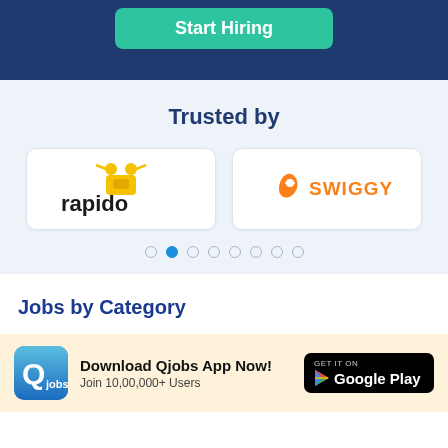[Figure (screenshot): Top dark navy blue banner with a teal 'Start Hiring' button]
Trusted by
[Figure (logo): Rapido logo card - yellow rapido icon with dark text 'rapido']
[Figure (logo): Swiggy logo card - orange Swiggy icon with orange text 'SWIGGY']
[Figure (other): Carousel dots - 8 dots, second one active/blue]
Jobs by Category
[Figure (logo): Qjobs app icon - blue Q logo]
Download Qjobs App Now! Join 10,00,000+ Users
[Figure (other): Google Play store button - black rounded rectangle with GET IT ON Google Play text]